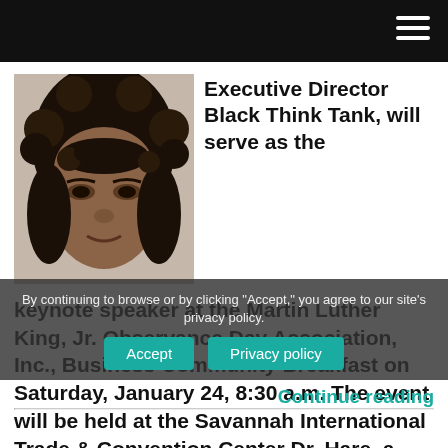[Figure (photo): Close-up photo of a woman with curly dark hair.]
Executive Director Black Think Tank, will serve as the keynote speaker at the Martin Luther King, Jr. Observance Day Association, Inc., Business Community Breakfast on Saturday, January 24, 8:30 a.m. The event will be held at the Savannah International Trade & Convention Center Dr. Hare, a dynamic motivational lecturer, relationship expert, author, social commentator and educator...
By continuing to browse or by clicking "Accept," you agree to our site's privacy policy.
Continue reading